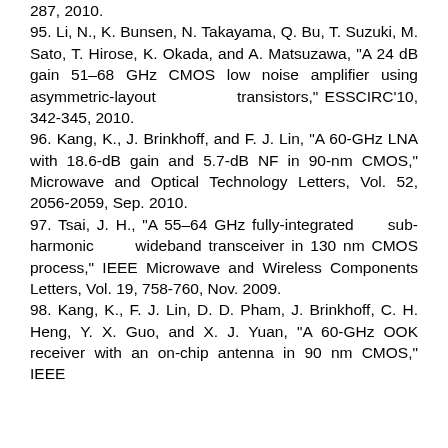287, 2010.
95. Li, N., K. Bunsen, N. Takayama, Q. Bu, T. Suzuki, M. Sato, T. Hirose, K. Okada, and A. Matsuzawa, "A 24 dB gain 51–68 GHz CMOS low noise amplifier using asymmetric-layout transistors," ESSCIRC'10, 342-345, 2010.
96. Kang, K., J. Brinkhoff, and F. J. Lin, "A 60-GHz LNA with 18.6-dB gain and 5.7-dB NF in 90-nm CMOS," Microwave and Optical Technology Letters, Vol. 52, 2056-2059, Sep. 2010.
97. Tsai, J. H., "A 55–64 GHz fully-integrated sub-harmonic wideband transceiver in 130 nm CMOS process," IEEE Microwave and Wireless Components Letters, Vol. 19, 758-760, Nov. 2009.
98. Kang, K., F. J. Lin, D. D. Pham, J. Brinkhoff, C. H. Heng, Y. X. Guo, and X. J. Yuan, "A 60-GHz OOK receiver with an on-chip antenna in 90 nm CMOS," IEEE